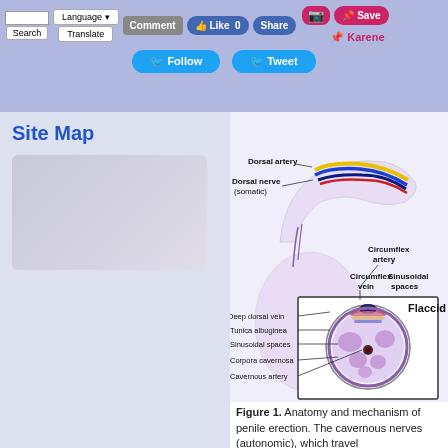[Figure (screenshot): Website toolbar with search box, language selector, comment, like, share, follow, tweet, Instagram, save, and Karene buttons on a blue-grey background]
Site Map
[Figure (illustration): Anatomical diagram of penile anatomy showing dorsal artery, dorsal nerve (somatic), circumflex artery, circumflex vein, sinusoidal spaces, deep dorsal vein, tunica albuginea, sinusoidal spaces, corpora cavernosa, cavernous artery, and a cross-sectional inset labeled 'Flaccid']
Figure 1. Anatomy and mechanism of penile erection. The cavernous nerves (autonomic), which travel postarterolaterally to the prostate, enter the corpora cavernosa and corpus spongiosum to regulate penile blood flow during erection and detumescence. The dorsal nerve...